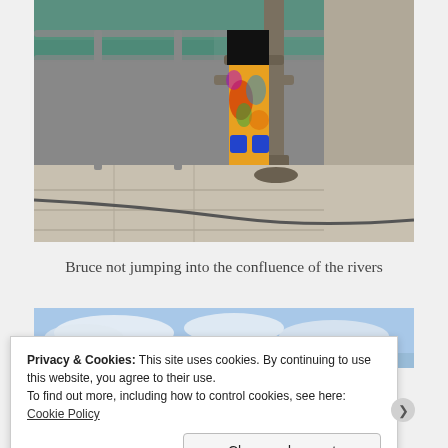[Figure (photo): A person wearing colorful tie-dye leggings and a black top standing near metal railings and a large stone pillar by a waterfront. The ground is stone pavement, and the water is visible in the background.]
Bruce not jumping into the confluence of the rivers
[Figure (photo): Partial view of a second photo showing a blue sky with clouds, partially obscured by the cookie consent banner.]
Privacy & Cookies: This site uses cookies. By continuing to use this website, you agree to their use.
To find out more, including how to control cookies, see here: Cookie Policy
Close and accept